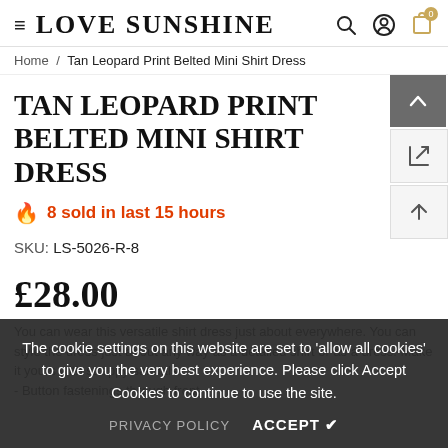LOVE SUNSHINE
Home / Tan Leopard Print Belted Mini Shirt Dress
TAN LEOPARD PRINT BELTED MINI SHIRT DRESS
🔥 8 sold in last 15 hours
SKU: LS-5026-R-8
£28.00
You can wear this versatile shirt dress just about everywhere. You can style the dress just about any way as a denim shirt or as a dress. Make it yours with strappy sandals.
- Button fastenings through front
The cookie settings on this website are set to 'allow all cookies' to give you the very best experience. Please click Accept Cookies to continue to use the site.
PRIVACY POLICY   ACCEPT ✔